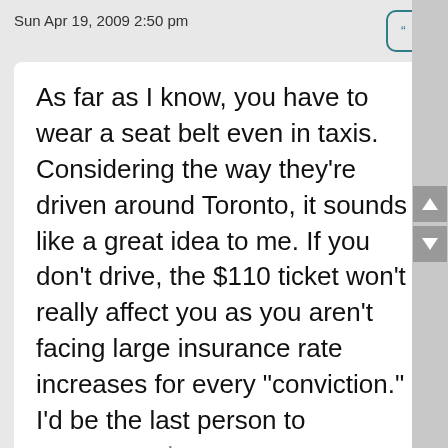Sun Apr 19, 2009 2:50 pm
As far as I know, you have to wear a seat belt even in taxis. Considering the way they're driven around Toronto, it sounds like a great idea to me. If you don't drive, the $110 ticket won't really affect you as you aren't facing large insurance rate increases for every "conviction." I'd be the last person to recommend